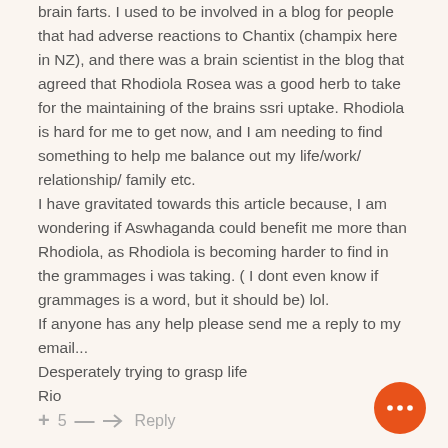brain farts. I used to be involved in a blog for people that had adverse reactions to Chantix (champix here in NZ), and there was a brain scientist in the blog that agreed that Rhodiola Rosea was a good herb to take for the maintaining of the brains ssri uptake. Rhodiola is hard for me to get now, and I am needing to find something to help me balance out my life/work/ relationship/ family etc.
I have gravitated towards this article because, I am wondering if Aswhaganda could benefit me more than Rhodiola, as Rhodiola is becoming harder to find in the grammages i was taking. ( I dont even know if grammages is a word, but it should be) lol.
If anyone has any help please send me a reply to my email...
Desperately trying to grasp life
Rio
+ 5 — → Reply